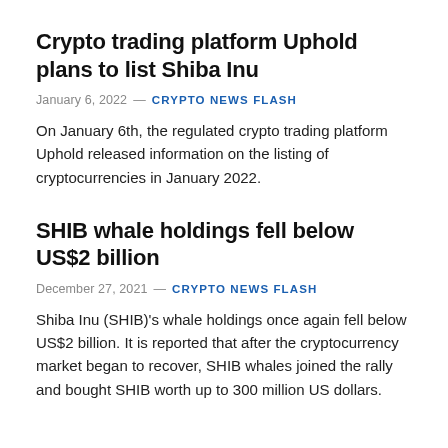Crypto trading platform Uphold plans to list Shiba Inu
January 6, 2022  —  CRYPTO NEWS FLASH
On January 6th, the regulated crypto trading platform Uphold released information on the listing of cryptocurrencies in January 2022.
SHIB whale holdings fell below US$2 billion
December 27, 2021  —  CRYPTO NEWS FLASH
Shiba Inu (SHIB)'s whale holdings once again fell below US$2 billion. It is reported that after the cryptocurrency market began to recover, SHIB whales joined the rally and bought SHIB worth up to 300 million US dollars.